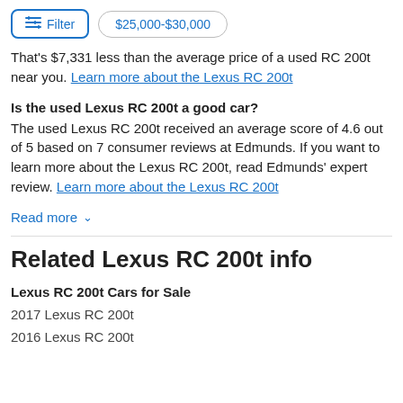Filter  $25,000-$30,000
That's $7,331 less than the average price of a used RC 200t near you. Learn more about the Lexus RC 200t
Is the used Lexus RC 200t a good car?
The used Lexus RC 200t received an average score of 4.6 out of 5 based on 7 consumer reviews at Edmunds. If you want to learn more about the Lexus RC 200t, read Edmunds' expert review. Learn more about the Lexus RC 200t
Read more
Related Lexus RC 200t info
Lexus RC 200t Cars for Sale
2017 Lexus RC 200t
2016 Lexus RC 200t